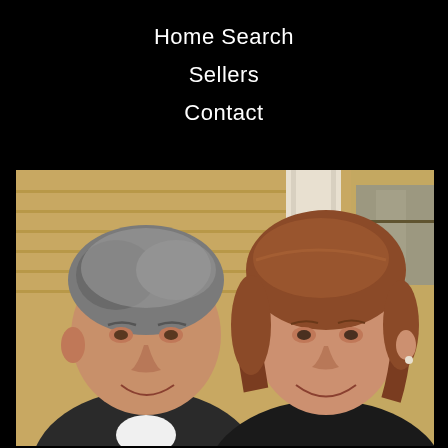Home Search
Sellers
Contact
[Figure (photo): A middle-aged man and woman smiling, standing in front of a house with yellow siding and a white column. The man is on the left with gray hair wearing a dark sweater and white shirt. The woman is on the right with reddish-brown hair wearing a dark top.]